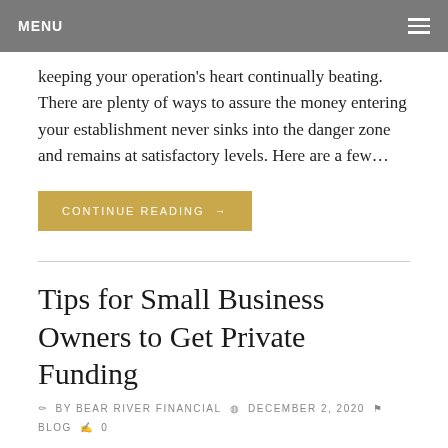MENU
keeping your operation's heart continually beating. There are plenty of ways to assure the money entering your establishment never sinks into the danger zone and remains at satisfactory levels. Here are a few…
CONTINUE READING →
Tips for Small Business Owners to Get Private Funding
BY BEAR RIVER FINANCIAL   DECEMBER 2, 2020   BLOG   0